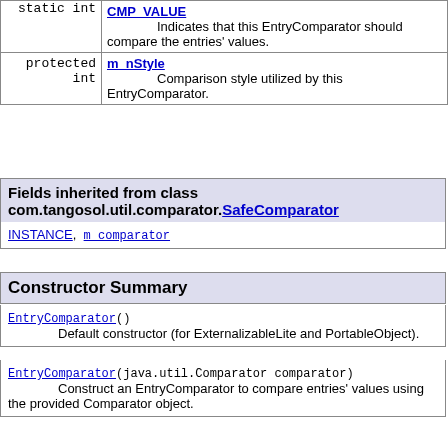| Type | Field/Description |
| --- | --- |
| static int | CMP_VALUE
        Indicates that this EntryComparator should compare the entries' values. |
| protected int | m_nStyle
        Comparison style utilized by this EntryComparator. |
Fields inherited from class com.tangosol.util.comparator.SafeComparator
INSTANCE, m_comparator
Constructor Summary
EntryComparator()
        Default constructor (for ExternalizableLite and PortableObject).
EntryComparator(java.util.Comparator comparator)
        Construct an EntryComparator to compare entries' values using the provided Comparator object.